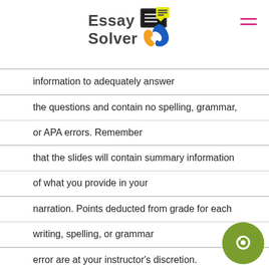Essay Solver
information to adequately answer
the questions and contain no spelling, grammar,
or APA errors. Remember
that the slides will contain summary information
of what you provide in your
narration. Points deducted from grade for each
writing, spelling, or grammar
error are at your instructor's discretion.
Also review the university policy on plagia
you have any